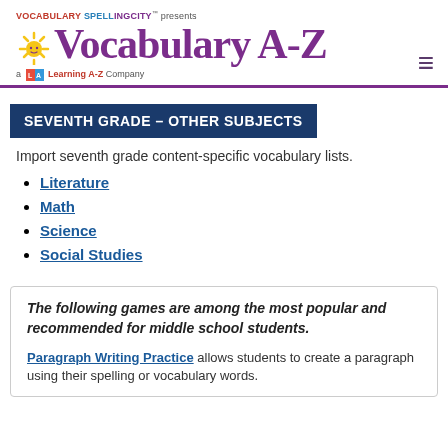[Figure (logo): Vocabulary SpellingCity presents Vocabulary A-Z logo with sun icon, and 'a Learning A-Z Company' tagline]
SEVENTH GRADE – OTHER SUBJECTS
Import seventh grade content-specific vocabulary lists.
Literature
Math
Science
Social Studies
The following games are among the most popular and recommended for middle school students.
Paragraph Writing Practice allows students to create a paragraph using their spelling or vocabulary words.